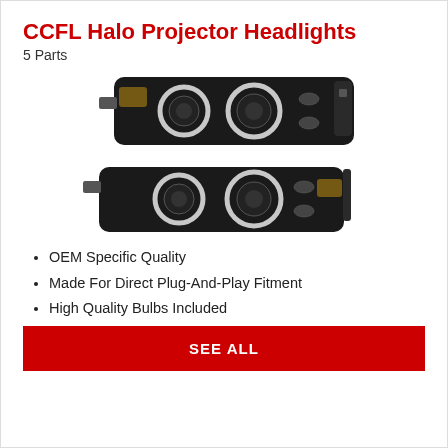CCFL Halo Projector Headlights
5 Parts
[Figure (photo): Pair of black CCFL halo projector headlights stacked, showing dual halo rings and projector lenses]
OEM Specific Quality
Made For Direct Plug-And-Play Fitment
High Quality Bulbs Included
SEE ALL